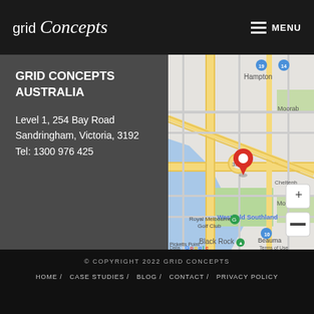grid Concepts   MENU
GRID CONCEPTS AUSTRALIA
Level 1, 254 Bay Road
Sandringham, Victoria, 3192
Tel: 1300 976 425
[Figure (map): Google Maps screenshot showing Westfield Southland area in Melbourne, Victoria, Australia. Red location pin placed near Westfield Southland. Surrounding areas visible: Hampton, Moorab, Cheltenha, Royal Melbourne Golf Club, Black Rock, Beauma, Picketts Point. Map controls (+/-) visible on right side.]
© COPYRIGHT 2022 GRID CONCEPTS
HOME / CASE STUDIES / BLOG / CONTACT / PRIVACY POLICY